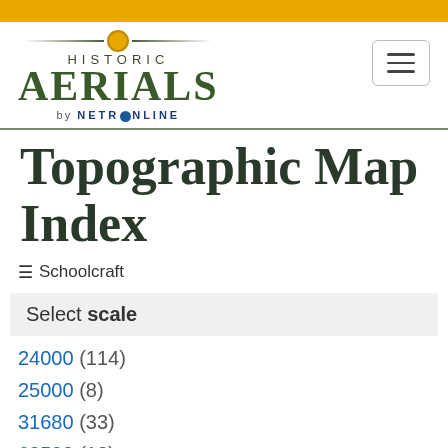[Figure (logo): Historic Aerials by NetrOnline logo with gold circle and horizontal lines]
Topographic Map Index
≡ Schoolcraft
Select scale
24000 (114)
25000 (8)
31680 (33)
62500 (13)
100000 (10)